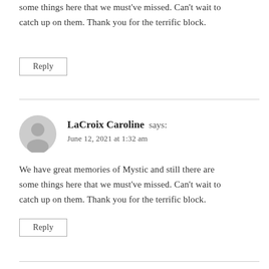some things here that we must've missed. Can't wait to catch up on them. Thank you for the terrific block.
Reply
LaCroix Caroline says:
June 12, 2021 at 1:32 am
We have great memories of Mystic and still there are some things here that we must've missed. Can't wait to catch up on them. Thank you for the terrific block.
Reply